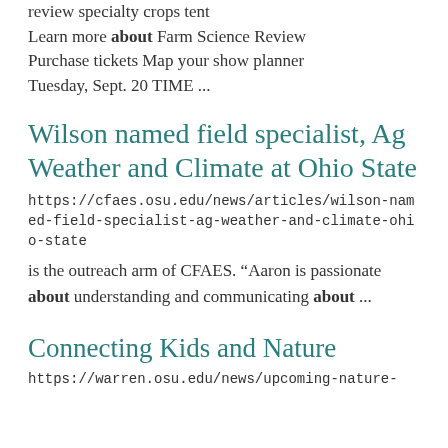review specialty crops tent Learn more about Farm Science Review Purchase tickets Map your show planner Tuesday, Sept. 20 TIME ...
Wilson named field specialist, Ag Weather and Climate at Ohio State
https://cfaes.osu.edu/news/articles/wilson-named-field-specialist-ag-weather-and-climate-ohio-state
is the outreach arm of CFAES. “Aaron is passionate about understanding and communicating about ...
Connecting Kids and Nature
https://warren.osu.edu/news/upcoming-nature-